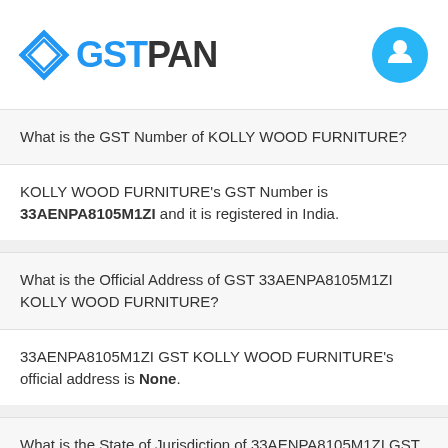GSTPAN
What is the GST Number of KOLLY WOOD FURNITURE?
KOLLY WOOD FURNITURE's GST Number is 33AENPA8105M1ZI and it is registered in India.
What is the Official Address of GST 33AENPA8105M1ZI KOLLY WOOD FURNITURE?
33AENPA8105M1ZI GST KOLLY WOOD FURNITURE's official address is None.
What is the State of Jurisdiction of 33AENPA8105M1ZI GST Number?
33AENPA8105M1ZI is registered in Tamil Nadu State of India.